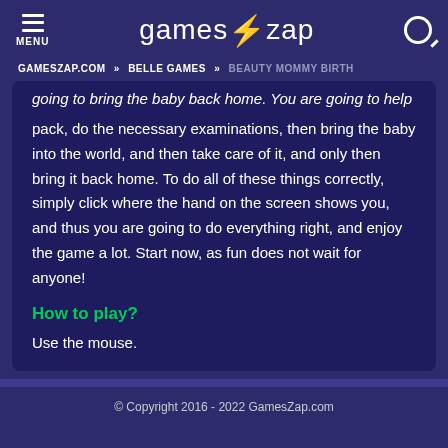MENU | games⚡zap
GAMESZAP.COM » BELLE GAMES » BEAUTY MOMMY BIRTH
going to bring the baby back home. You are going to help her pack, do the necessary examinations, then bring the baby into the world, and then take care of it, and only then bring it back home. To do all of these things correctly, simply click where the hand on the screen shows you, and thus you are going to do everything right, and enjoy the game a lot. Start now, as fun does not wait for anyone!
How to play?
Use the mouse.
© Copyright 2016 - 2022 GamesZap.com